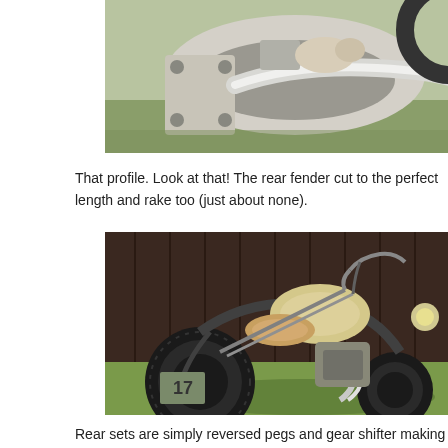[Figure (photo): Close-up photograph of a motorcycle rear fender and exhaust area with metal parts, bolts, and chrome components visible outdoors]
That profile. Look at that! The rear fender cut to the perfect length and rake too (just about none).
[Figure (photo): Full side profile of a custom bobber-style motorcycle leaning against a dark wooden fence on a grass lawn, showing low seat, wide front tire, license plate numbered 17, chrome exhaust pipes, and tan solo seat]
Rear sets are simply reversed pegs and gear shifter making it